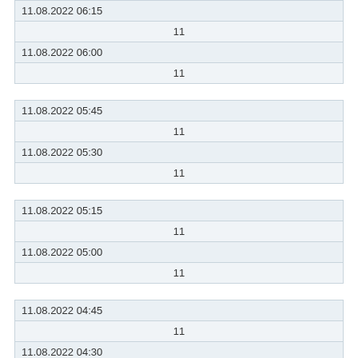| 11.08.2022 06:15 |  |
|  | 11 |
| 11.08.2022 06:00 |  |
|  | 11 |
| 11.08.2022 05:45 |  |
|  | 11 |
| 11.08.2022 05:30 |  |
|  | 11 |
| 11.08.2022 05:15 |  |
|  | 11 |
| 11.08.2022 05:00 |  |
|  | 11 |
| 11.08.2022 04:45 |  |
|  | 11 |
| 11.08.2022 04:30 |  |
|  | 11 |